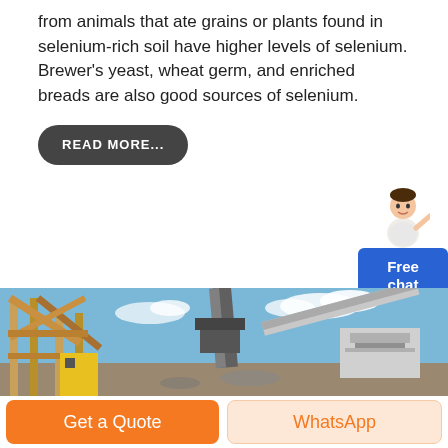from animals that ate grains or plants found in selenium-rich soil have higher levels of selenium. Brewer's yeast, wheat germ, and enriched breads are also good sources of selenium.
READ MORE...
[Figure (photo): Construction site with wooden scaffolding, industrial conveyor belts, machinery and equipment under a blue sky with clouds.]
Get a Quote
WhatsApp